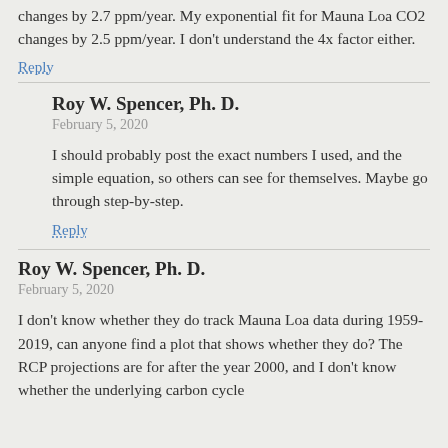changes by 2.7 ppm/year. My exponential fit for Mauna Loa CO2 changes by 2.5 ppm/year. I don't understand the 4x factor either.
Reply
Roy W. Spencer, Ph. D.
February 5, 2020
I should probably post the exact numbers I used, and the simple equation, so others can see for themselves. Maybe go through step-by-step.
Reply
Roy W. Spencer, Ph. D.
February 5, 2020
I don't know whether they do track Mauna Loa data during 1959-2019, can anyone find a plot that shows whether they do? The RCP projections are for after the year 2000, and I don't know whether the underlying carbon cycle